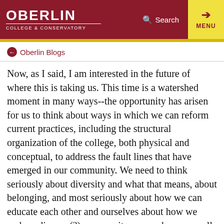OBERLIN COLLEGE & CONSERVATORY | Search | MENU
Oberlin Blogs
Now, as I said, I am interested in the future of where this is taking us. This time is a watershed moment in many ways--the opportunity has arisen for us to think about ways in which we can reform current practices, including the structural organization of the college, both physical and conceptual, to address the fault lines that have emerged in our community. We need to think seriously about diversity and what that means, about belonging, and most seriously about how we can educate each other and ourselves about how we make a diverse (?) community as ours become well functioning [It is not well functioning in its current